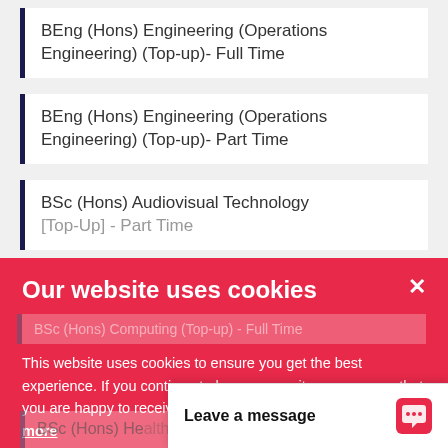BEng (Hons) Engineering (Operations Engineering) (Top-up)- Full Time
BEng (Hons) Engineering (Operations Engineering) (Top-up)- Part Time
BSc (Hons) Audiovisual Technology [Top-Up] - Part Time
BSc (Hons) Computing (Top-up) - Full Time
BSc (Hons) Computing (Top-up) - Part Time - Level 6
BSc (Hons) Health...
Our website uses cookies
This website uses cookies to ensure you get the best experience. If you continue to browse our site, we assume that you are happy to receive cookies set on this website. Learn more
Okay, Got It
Leave a message